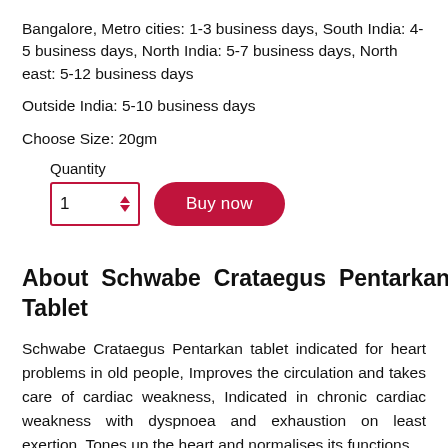Bangalore, Metro cities: 1-3 business days, South India: 4-5 business days, North India: 5-7 business days, North east: 5-12 business days
Outside India: 5-10 business days
Choose Size: 20gm
Quantity
[Figure (other): Quantity input box showing '1' with up/down arrows, bordered in red/crimson, alongside a red 'Buy now' rounded button]
About Schwabe Crataegus Pentarkan Tablet
Schwabe Crataegus Pentarkan tablet indicated for heart problems in old people, Improves the circulation and takes care of cardiac weakness, Indicated in chronic cardiac weakness with dyspnoea and exhaustion on least exertion, Tones up the heart and normalises its functions,